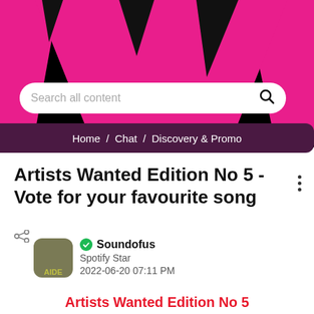[Figure (screenshot): Spotify community app banner with pink and black background, search bar, and breadcrumb navigation Home / Chat / Discovery & Promo]
Artists Wanted Edition No 5 - Vote for your favourite song
Soundofus
Spotify Star
2022-06-20 07:11 PM
Artists Wanted Edition No 5